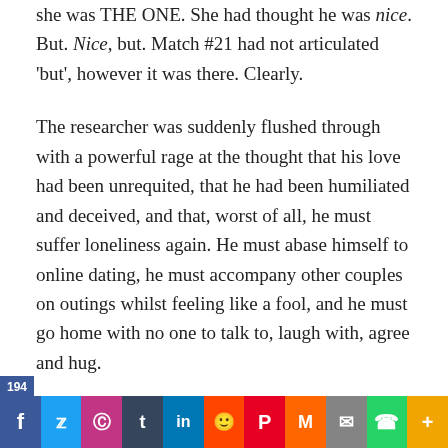she was THE ONE. She had thought he was nice. But. Nice, but. Match #21 had not articulated 'but', however it was there. Clearly.
The researcher was suddenly flushed through with a powerful rage at the thought that his love had been unrequited, that he had been humiliated and deceived, and that, worst of all, he must suffer loneliness again. He must abase himself to online dating, he must accompany other couples on outings whilst feeling like a fool, and he must go home with no one to talk to, laugh with, agree and hug.
194 | social share bar